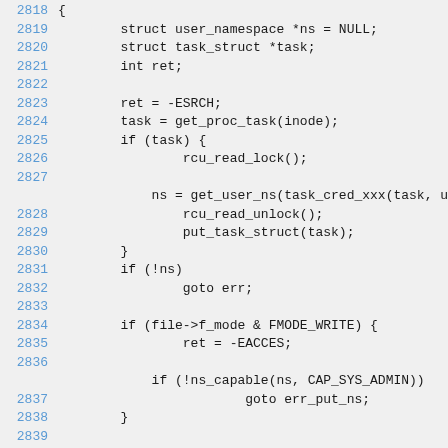Source code listing, lines 2818–2840, showing C kernel code with user namespace handling, task struct operations, and capability checks.